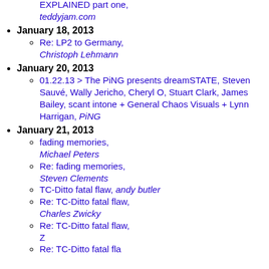EXPLAINED part one, teddyjam.com
January 18, 2013
Re: LP2 to Germany, Christoph Lehmann
January 20, 2013
01.22.13 > The PiNG presents dreamSTATE, Steven Sauvé, Wally Jericho, Cheryl O, Stuart Clark, James Bailey, scant intone + General Chaos Visuals + Lynn Harrigan, PiNG
January 21, 2013
fading memories, Michael Peters
Re: fading memories, Steven Clements
TC-Ditto fatal flaw, andy butler
Re: TC-Ditto fatal flaw, Charles Zwicky
Re: TC-Ditto fatal flaw, Z
Re: TC-Ditto fatal flaw, (truncated)